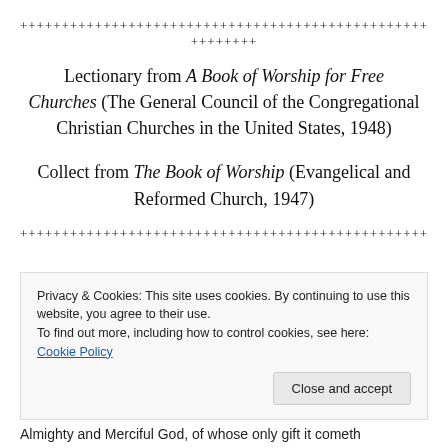++++++++++++++++++++++++++++++++++++++++++++++++++
++++++++
Lectionary from A Book of Worship for Free Churches (The General Council of the Congregational Christian Churches in the United States, 1948)
Collect from The Book of Worship (Evangelical and Reformed Church, 1947)
+++++++++++++++++++++++++++++++++++++++++++++++++
Privacy & Cookies: This site uses cookies. By continuing to use this website, you agree to their use. To find out more, including how to control cookies, see here: Cookie Policy
Close and accept
Almighty and Merciful God, of whose only gift it cometh